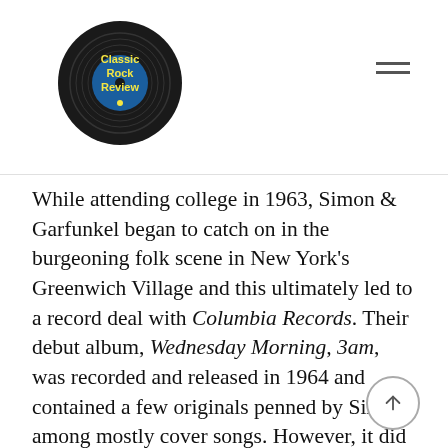Classic Rock Review
While attending college in 1963, Simon & Garfunkel began to catch on in the burgeoning folk scene in New York's Greenwich Village and this ultimately led to a record deal with Columbia Records. Their debut album, Wednesday Morning, 3am, was recorded and released in 1964 and contained a few originals penned by Simon among mostly cover songs. However, it did not fare very well in popularity leading to a breakup of Simon & Garfunkel shortly afterward, with Paul Simon moving to England to pursue a solo career. There in 1965 Simon recorded his solo album, The Paul Simon Songbook and began his own rise...